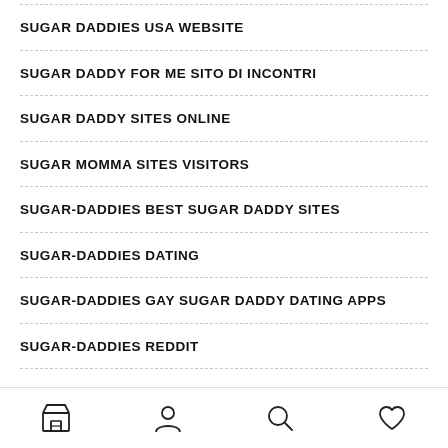SUGAR DADDIES USA WEBSITE
SUGAR DADDY FOR ME SITO DI INCONTRI
SUGAR DADDY SITES ONLINE
SUGAR MOMMA SITES VISITORS
SUGAR-DADDIES BEST SUGAR DADDY SITES
SUGAR-DADDIES DATING
SUGAR-DADDIES GAY SUGAR DADDY DATING APPS
SUGAR-DADDIES REDDIT
[navigation bar with store, profile, search, favorites icons]